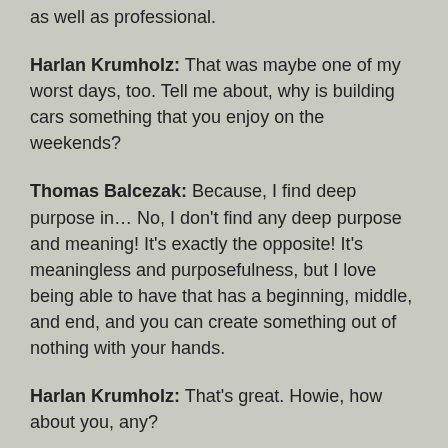as well as professional.
Harlan Krumholz: That was maybe one of my worst days, too. Tell me about, why is building cars something that you enjoy on the weekends?
Thomas Balcezak: Because, I find deep purpose in… No, I don't find any deep purpose and meaning! It's exactly the opposite! It's meaningless and purposefulness, but I love being able to have that has a beginning, middle, and end, and you can create something out of nothing with your hands.
Harlan Krumholz: That's great. Howie, how about you, any?
Howard Forman: Well, so I'm still curious about in the job that you have now compared to the job that you started in twenty-plus years ago when you worked in the office of Peter Herbert and tackled